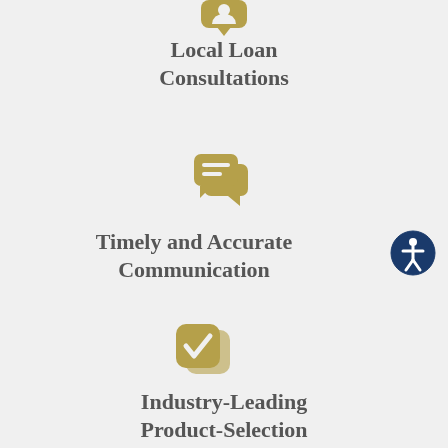[Figure (illustration): Gold icon of a person with a check mark or shield at the top of the page]
Local Loan Consultations
[Figure (illustration): Gold chat/speech bubble icon with lines representing text]
Timely and Accurate Communication
[Figure (illustration): Gold rounded square with a check mark icon]
Industry-Leading Product-Selection
[Figure (illustration): Blue circular accessibility icon with person figure]